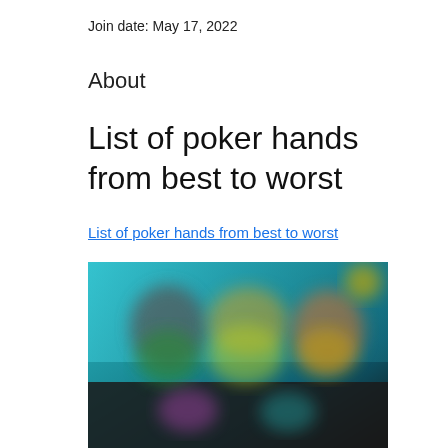Join date: May 17, 2022
About
List of poker hands from best to worst
List of poker hands from best to worst
[Figure (photo): Blurred screenshot of a poker game or gaming interface with teal/blue background and character figures]